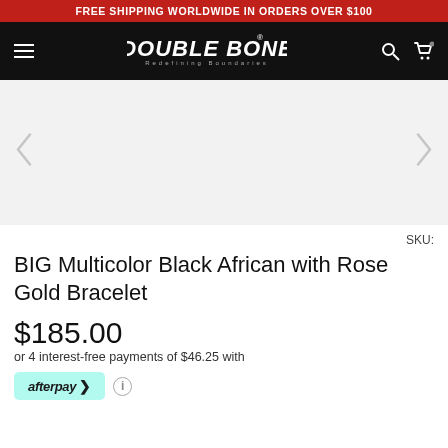FREE SHIPPING WORLDWIDE IN ORDERS OVER $100
[Figure (logo): Double Bone brand logo in white text on black navigation bar with hamburger menu, search icon, and cart icon]
[Figure (photo): Product image area for BIG Multicolor Black African with Rose Gold Bracelet, mostly white/empty with navigation arrows on sides]
SKU:
BIG Multicolor Black African with Rose Gold Bracelet
$185.00
or 4 interest-free payments of $46.25 with
[Figure (logo): Afterpay payment badge in teal/mint color with afterpay logo and arrow icon, followed by an info circle icon]